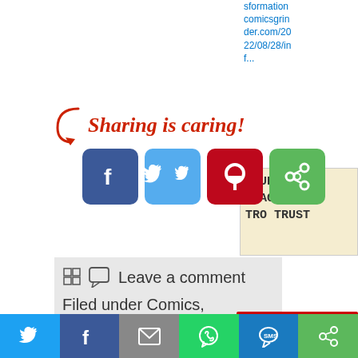sformation comicsgrinder.com/2022/08/28/inf...
Sharing is caring!
[Figure (screenshot): Row of social share buttons: Facebook (blue), Twitter (light blue), Pinterest (red), ShareThis (green)]
[Figure (screenshot): Comics panel showing text: CURITY: A ACCESS TRUST]
Leave a comment
Filed under Comics, Comics Reviews, Humor, Image Comics, Super Heroes
[Figure (photo): Jim Woodring Comics Grinder Interviews card - photo of bearded man with glasses in front of comic pages]
Comics
[Figure (screenshot): Bottom share bar with Twitter, Facebook, Email, WhatsApp, SMS, ShareThis buttons]